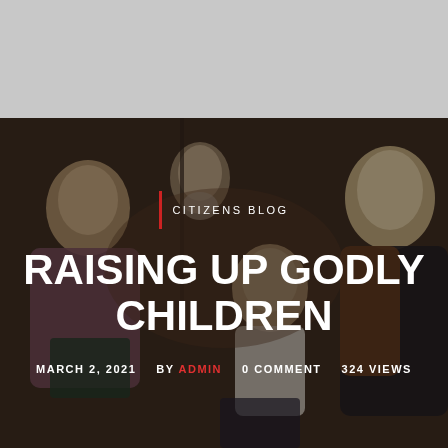[Figure (photo): Family in a church setting — a young blond boy looking upward, an older man with white beard, a young girl, and a blond woman smiling, with dark overlay. Hero banner image for blog post.]
CITIZENS BLOG
RAISING UP GODLY CHILDREN
MARCH 2, 2021   BY ADMIN   0 COMMENT   324 VIEWS